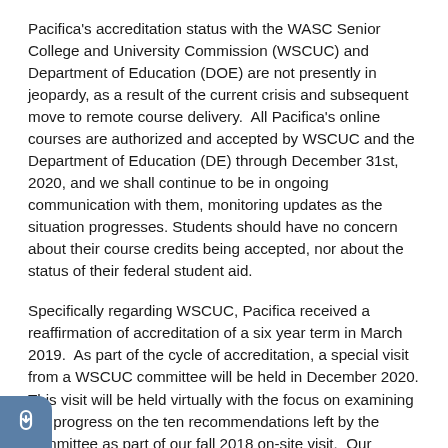Pacifica's accreditation status with the WASC Senior College and University Commission (WSCUC) and Department of Education (DOE) are not presently in jeopardy, as a result of the current crisis and subsequent move to remote course delivery. All Pacifica's online courses are authorized and accepted by WSCUC and the Department of Education (DE) through December 31st, 2020, and we shall continue to be in ongoing communication with them, monitoring updates as the situation progresses. Students should have no concern about their course credits being accepted, nor about the status of their federal student aid.
Specifically regarding WSCUC, Pacifica received a reaffirmation of accreditation of a six year term in March 2019. As part of the cycle of accreditation, a special visit from a WSCUC committee will be held in December 2020. This visit will be held virtually with the focus on examining the progress on the ten recommendations left by the committee as part of our fall 2018 on-site visit. Our faculty, staff, administration, and board have been working to address all